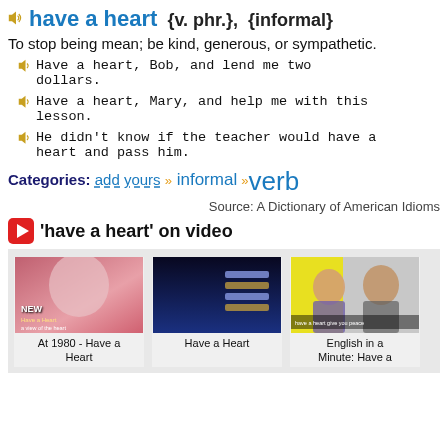have a heart {v. phr.}, {informal}
To stop being mean; be kind, generous, or sympathetic.
Have a heart, Bob, and lend me two dollars.
Have a heart, Mary, and help me with this lesson.
He didn't know if the teacher would have a heart and pass him.
Categories: add yours » informal » verb
Source: A Dictionary of American Idioms
'have a heart' on video
[Figure (photo): Three video thumbnail images: 'At 1980 - Have a Heart', 'Have a Heart', 'English in a Minute: Have a']